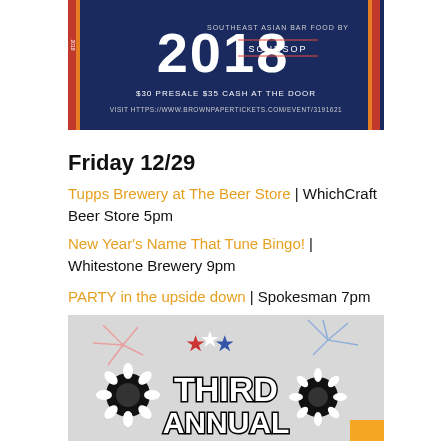[Figure (photo): Dark navy blue banner image with large white '2018' text, 'SOUTHEAST ASIAN BAR FOOD BY SOURSOP', '$30 PRESALE $35 CASH AT THE DOOR', and 'VISIT HTTPS://WWW.BROWNPAPERTICKETS.COM/EVENT/3191621']
Friday 12/29
Tupps Brewery at The Beer Store | WhichCraft Beer Store 5pm
New Year's Name That Tune Bingo! | Whitestone Brewery 9pm
PARTY in the upside down | Spokesman 7pm
[Figure (illustration): Light gray banner showing black daisy flowers with fireworks, three stars (red, white, blue), and text 'THIRD ANNUAL' in bold block letters with white outline]